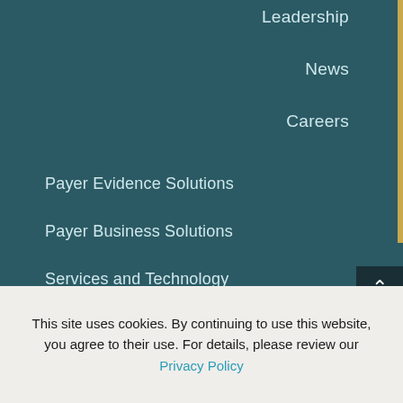Leadership
News
Careers
Payer Evidence Solutions
Payer Business Solutions
Services and Technology
Publications
This site uses cookies. By continuing to use this website, you agree to their use. For details, please review our Privacy Policy